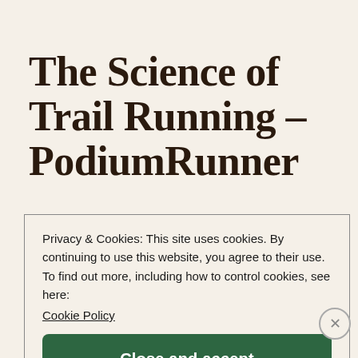The Science of Trail Running – PodiumRunner
Privacy & Cookies: This site uses cookies. By continuing to use this website, you agree to their use.
To find out more, including how to control cookies, see here: Cookie Policy
Close and accept